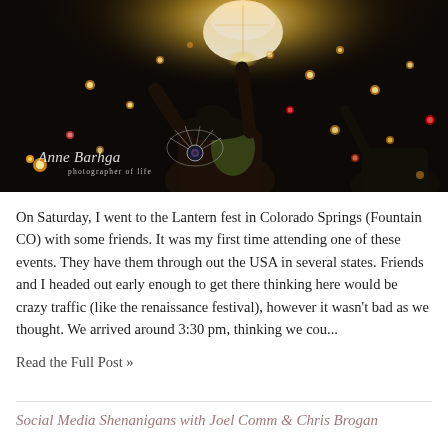[Figure (photo): Night sky photo of people releasing glowing sky lanterns. A person in a wide-brim hat holds up a large bright lantern, with many other lanterns floating in the dark background. A photographer watermark reads 'Anne Barhga, photographer of life' with a decorative peacock eye logo.]
On Saturday, I went to the Lantern fest in Colorado Springs (Fountain CO) with some friends. It was my first time attending one of these events. They have them through out the USA in several states. Friends and I headed out early enough to get there thinking here would be crazy traffic (like the renaissance festival), however it wasn't bad as we thought. We arrived around 3:30 pm, thinking we cou...
Read the Full Post »
Social Media Shenanigans with Joel Comm & Chris Brogan